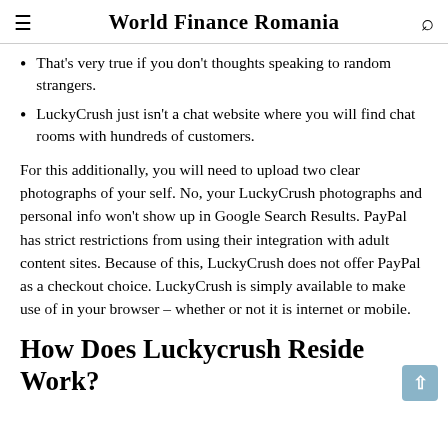World Finance Romania
That's very true if you don't thoughts speaking to random strangers.
LuckyCrush just isn't a chat website where you will find chat rooms with hundreds of customers.
For this additionally, you will need to upload two clear photographs of your self. No, your LuckyCrush photographs and personal info won't show up in Google Search Results. PayPal has strict restrictions from using their integration with adult content sites. Because of this, LuckyCrush does not offer PayPal as a checkout choice. LuckyCrush is simply available to make use of in your browser – whether or not it is internet or mobile.
How Does Luckycrush Reside Work?